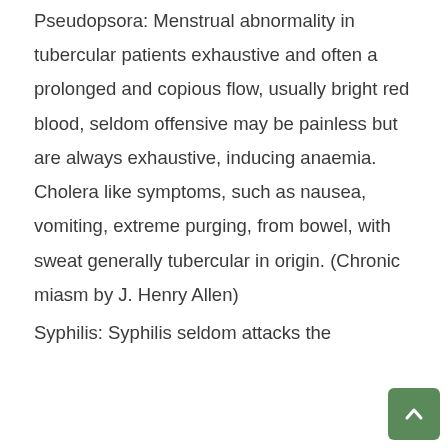Pseudopsora: Menstrual abnormality in tubercular patients exhaustive and often a prolonged and copious flow, usually bright red blood, seldom offensive may be painless but are always exhaustive, inducing anaemia. Cholera like symptoms, such as nausea, vomiting, extreme purging, from bowel, with sweat generally tubercular in origin. (Chronic miasm by J. Henry Allen)
Syphilis: Syphilis seldom attacks the